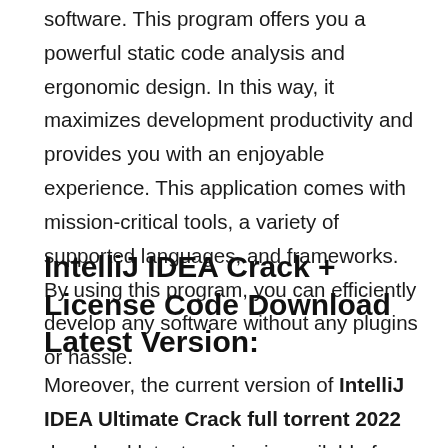software. This program offers you a powerful static code analysis and ergonomic design. In this way, it maximizes development productivity and provides you with an enjoyable experience. This application comes with mission-critical tools, a variety of supported languages, and frameworks. By using this program, you can efficiently develop any software without any plugins or hassle.
IntelliJ IDEA Crack + License Code Download Latest Version:
Moreover, the current version of IntelliJ IDEA Ultimate Crack full torrent 2022 download latest version is available for the blazingly fast and intelligent user